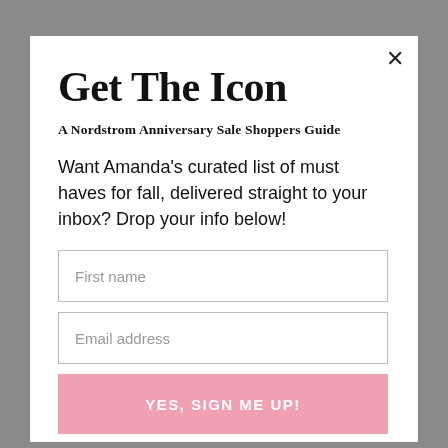Get The Icon
A Nordstrom Anniversary Sale Shoppers Guide
Want Amanda's curated list of must haves for fall, delivered straight to your inbox? Drop your info below!
First name
Email address
YES, SIGN ME UP!